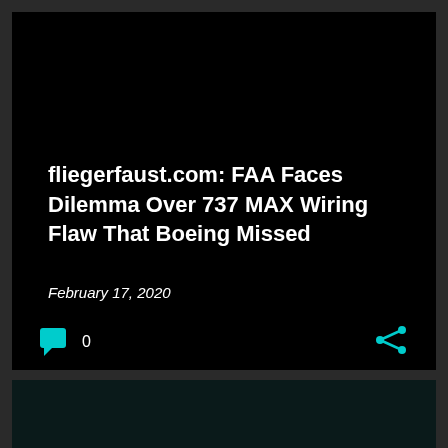fliegerfaust.com: FAA Faces Dilemma Over 737 MAX Wiring Flaw That Boeing Missed
February 17, 2020
[Figure (screenshot): Comment icon (cyan chat bubble) with count 0, and share icon (cyan share symbol) on dark background]